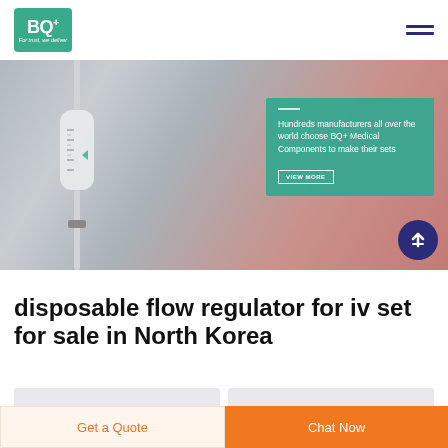BQ+ For trust, we deliver
[Figure (photo): Hero banner showing a medical IV flow regulator/drip chamber held up, blurred red background. Overlaid teal card with text: 'Hundreds manufacturers all over the world choose BQ+ Medical Components to make their sets' with a VIEW MORE button. Dark navy scroll-up arrow circle in bottom right.]
disposable flow regulator for iv set for sale in North Korea
Get a Quote | Chat Now